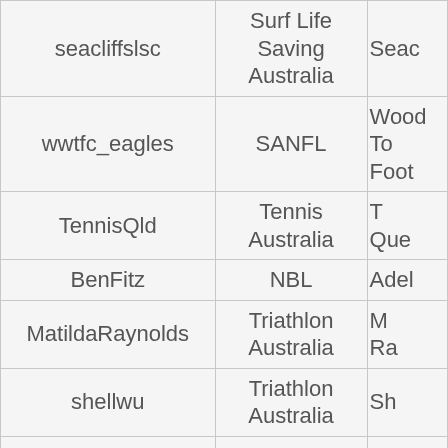| Username | Organization | Club/Team |
| --- | --- | --- |
| seacliffslsc | Surf Life Saving Australia | Seac… |
| wwtfc_eagles | SANFL | Wood… To… Foot… |
| TennisQld | Tennis Australia | T… Que… |
| BenFitz | NBL | Adel… |
| MatildaRaynolds | Triathlon Australia | M… Ra… |
| shellwu | Triathlon Australia | Sh… |
| AFL_MarkConway | AFL |  |
| edotherocket | A-League | Brisb… |
| BaseballNZ | Baseball New Zealand | Base… Ze… |